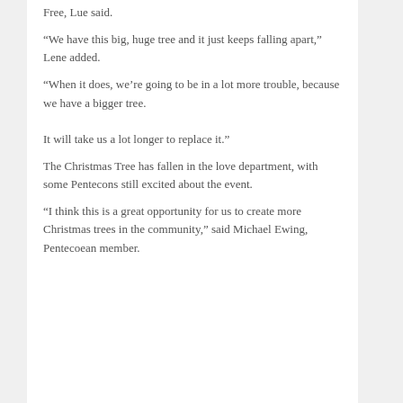Free, Lue said.
“We have this big, huge tree and it just keeps falling apart,” Lene added.
“When it does, we’re going to be in a lot more trouble, because we have a bigger tree.

It will take us a lot longer to replace it.”
The Christmas Tree has fallen in the love department, with some Pentecons still excited about the event.
“I think this is a great opportunity for us to create more Christmas trees in the community,” said Michael Ewing, Pentecoean member.